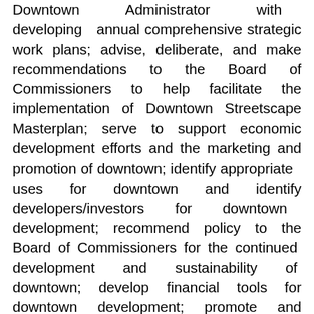Downtown Administrator with developing annual comprehensive strategic work plans; advise, deliberate, and make recommendations to the Board of Commissioners to help facilitate the implementation of Downtown Streetscape Masterplan; serve to support economic development efforts and the marketing and promotion of downtown; identify appropriate uses for downtown and identify developers/investors for downtown development; recommend policy to the Board of Commissioners for the continued development and sustainability of downtown; develop financial tools for downtown development; promote and facilitate the improvement of downtown infrastructure; promote and facilitate a program to assist in business retention in the downtown; promote and facilitate a marketing program to increase sales, visitors, and awareness of downtown; provide the Board of Commissioners with representative community participation